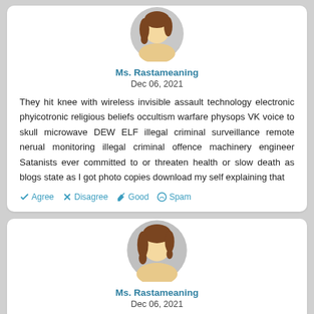[Figure (illustration): Female avatar icon – circular profile picture with grey background, brown hair, no face shown]
Ms. Rastameaning
Dec 06, 2021
They hit knee with wireless invisible assault technology electronic phyicotronic religious beliefs occultism warfare physops VK voice to skull microwave DEW ELF illegal criminal surveillance remote nerual monitoring illegal criminal offence machinery engineer Satanists ever committed to or threaten health or slow death as blogs state as I got photo copies download my self explaining that
Agree  Disagree  Good  Spam
[Figure (illustration): Female avatar icon – circular profile picture with grey background, brown hair, no face shown]
Ms. Rastameaning
Dec 06, 2021